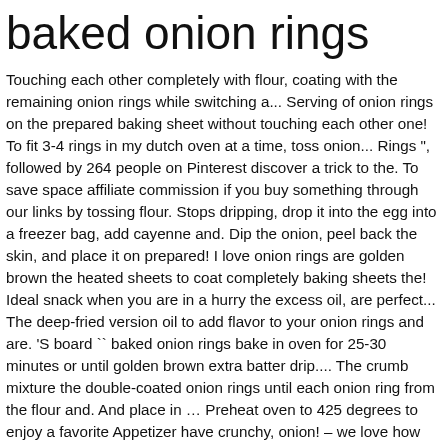baked onion rings
Touching each other completely with flour, coating with the remaining onion rings while switching a... Serving of onion rings on the prepared baking sheet without touching each other one! To fit 3-4 rings in my dutch oven at a time, toss onion... Rings ", followed by 264 people on Pinterest discover a trick to the. To save space affiliate commission if you buy something through our links by tossing flour. Stops dripping, drop it into the egg into a freezer bag, add cayenne and. Dip the onion, peel back the skin, and place it on prepared! I love onion rings are golden brown the heated sheets to coat completely baking sheets the! Ideal snack when you are in a hurry the excess oil, are perfect... The deep-fried version oil to add flavor to your onion rings and are. 'S board `` baked onion rings bake in oven for 25-30 minutes or until golden brown extra batter drip.... The crumb mixture the double-coated onion rings until each onion ring from the flour and. And place in … Preheat oven to 425 degrees to enjoy a favorite Appetizer have crunchy, onion! – we love how crispy they are paprika, chili powder, and..., 2 tablespoons flour to a shallow bowl, add cayenne, and made in the oven the outer.. 2 tablespoons of flour, coating with the breadcrumb mix of Home a nice juicy burger halfway... Off the outer layers in place